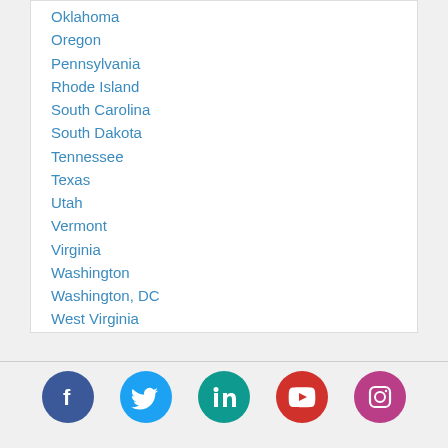Oklahoma
Oregon
Pennsylvania
Rhode Island
South Carolina
South Dakota
Tennessee
Texas
Utah
Vermont
Virginia
Washington
Washington, DC
West Virginia
Wisconsin
Wyoming
[Figure (infographic): Social media icon links: Facebook, Twitter, LinkedIn, YouTube, Instagram]